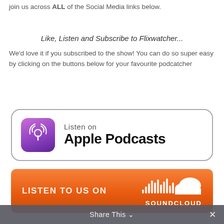join us across ALL of the Social Media links below.
Like, Listen and Subscribe to Flixwatcher...
We'd love it if you subscribed to the show! You can do so super easy by clicking on the buttons below for your favourite podcatcher
[Figure (logo): Listen on Apple Podcasts button with purple podcast icon]
[Figure (logo): Listen to us on SoundCloud orange button with SoundCloud logo]
Share This